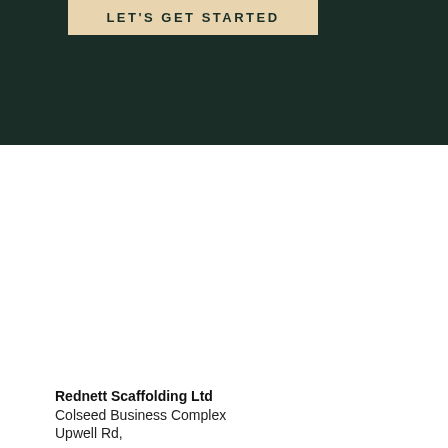LET'S GET STARTED
Rednett Scaffolding Ltd
Colseed Business Complex
Upwell Rd,